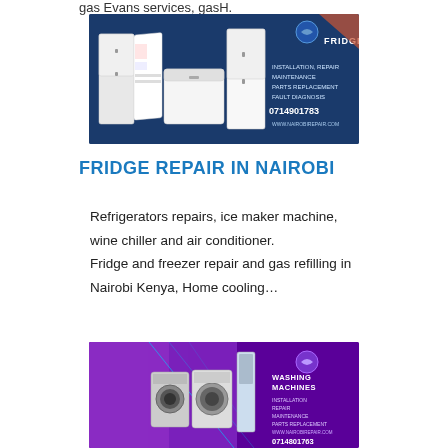gas Evans services, gasH.
[Figure (photo): Advertisement banner for fridge repair services showing white refrigerators on dark blue background with text: FRIDGES, INSTALLATION, REPAIR, MAINTENANCE, PARTS REPLACEMENT, FAULT DIAGNOSIS, 0714901783, WWW.NAIROBIREPAIR.COM]
FRIDGE REPAIR IN NAIROBI
Refrigerators repairs, ice maker machine, wine chiller and air conditioner.
Fridge and freezer repair and gas refilling in Nairobi Kenya, Home cooling…
[Figure (photo): Advertisement banner for washing machine services showing washing machines on purple background with neon lines and text: WASHING MACHINES, INSTALLATION, REPAIR, MAINTENANCE, PARTS REPLACEMENT, WWW.NAIROBIREPAIR.COM, 0714801763]